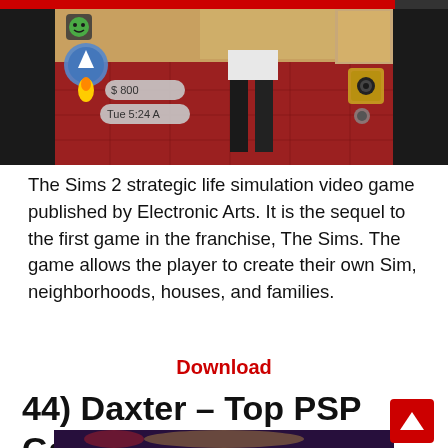[Figure (screenshot): The Sims 2 game screenshot showing a character standing on a red patterned carpet floor with HUD elements including a smiley face icon, navigation arrow, money display showing $800, time display showing Tue 5:24 A, and a camera icon]
The Sims 2 strategic life simulation video game published by Electronic Arts. It is the sequel to the first game in the franchise, The Sims. The game allows the player to create their own Sim, neighborhoods, houses, and families.
Download
44) Daxter – Top PSP Games
[Figure (screenshot): Daxter PSP game screenshot showing a colorful fantasy scene with light beams and game characters]